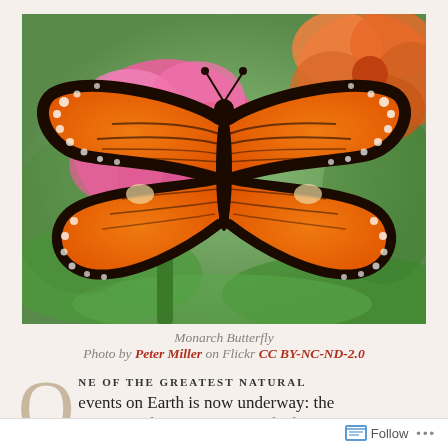[Figure (photo): A monarch butterfly with wings spread open, perched on a pink zinnia flower. The butterfly displays classic orange and black wing pattern with white spots along the edges. Background shows green foliage and another orange/red flower.]
Monarch Butterfly
Photo by Peter Miller on Flickr CC BY-NC-ND-2.0
ONE OF THE GREATEST NATURAL events on Earth is now underway: the migration of the monarch butterfly from...
Follow ...